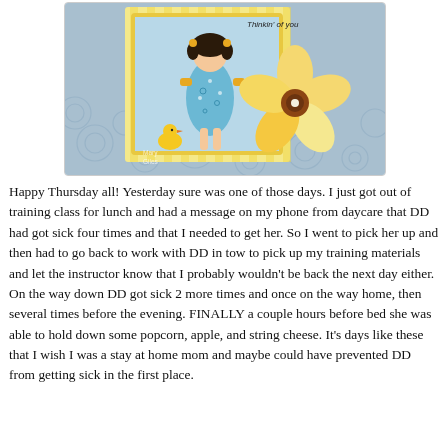[Figure (photo): A handmade greeting card featuring a cartoon girl in a blue dress with yellow accents, a rubber duck, the text 'Thinkin' of you', and a decorative yellow patterned flower embellishment. The card has a blue swirly background and yellow striped design. Watermark reads 'Mary Giles'.]
Happy Thursday all! Yesterday sure was one of those days. I just got out of training class for lunch and had a message on my phone from daycare that DD had got sick four times and that I needed to get her. So I went to pick her up and then had to go back to work with DD in tow to pick up my training materials and let the instructor know that I probably wouldn't be back the next day either. On the way down DD got sick 2 more times and once on the way home, then several times before the evening. FINALLY a couple hours before bed she was able to hold down some popcorn, apple, and string cheese. It's days like these that I wish I was a stay at home mom and maybe could have prevented DD from getting sick in the first place.